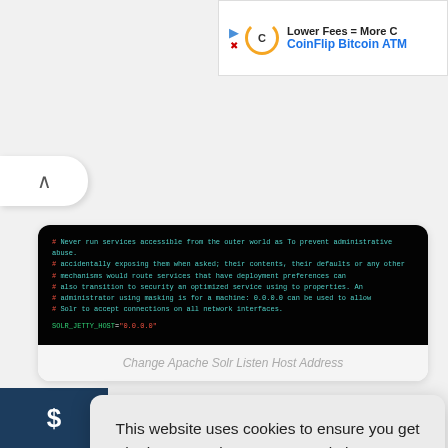[Figure (screenshot): Advertisement banner for CoinFlip Bitcoin ATM showing 'Lower Fees = More C' and 'CoinFlip Bitcoin ATM' with play and close icons]
[Figure (screenshot): Collapse/chevron tab on left side of screen]
[Figure (screenshot): Terminal/code block showing Apache Solr configuration with colored text on black background, including SOLR_JETTY_HOST variable set to 0.0.0.0]
Change Apache Solr Listen Host Address
This website uses cookies to ensure you get the best experience on our website.  Learn more
Got it!